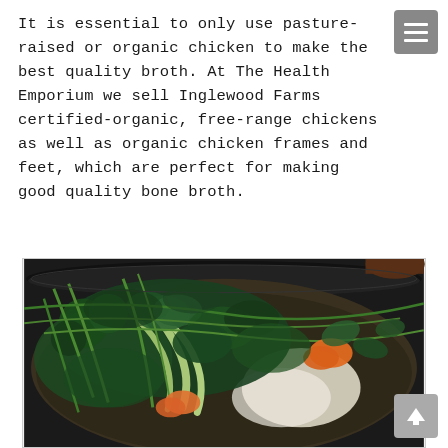It is essential to only use pasture-raised or organic chicken to make the best quality broth. At The Health Emporium we sell Inglewood Farms certified-organic, free-range chickens as well as organic chicken frames and feet, which are perfect for making good quality bone broth.
[Figure (photo): A dark cooking pot or pan filled with green vegetables including leafy greens, bok choy, broccoli, and orange vegetables like carrots, appearing to be a pot of chicken bone broth with vegetables being prepared.]